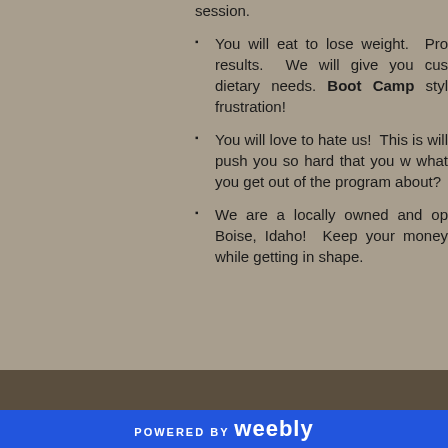session.
You will eat to lose weight. Pro results. We will give you cus dietary needs. Boot Camp styl frustration!
You will love to hate us! This is will push you so hard that you w what you get out of the progra about?
We are a locally owned and op Boise, Idaho! Keep your money while getting in shape.
POWERED BY weebly